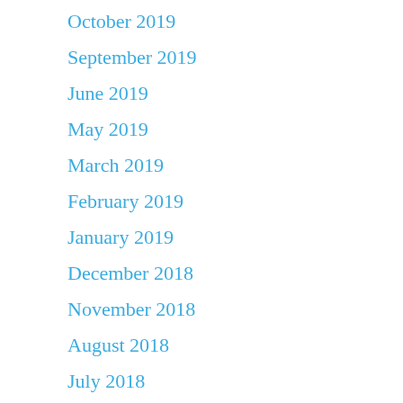October 2019
September 2019
June 2019
May 2019
March 2019
February 2019
January 2019
December 2018
November 2018
August 2018
July 2018
June 2018
May 2018
April 2018